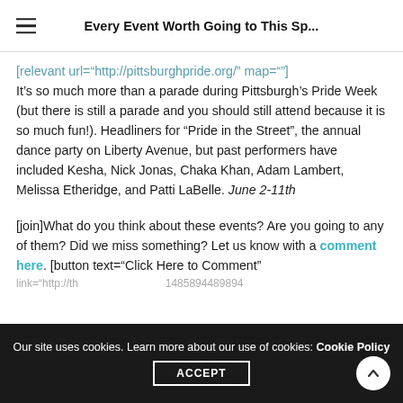Every Event Worth Going to This Sp...
[relevant url="http://pittsburghpride.org/" map=""] It's so much more than a parade during Pittsburgh's Pride Week (but there is still a parade and you should still attend because it is so much fun!). Headliners for “Pride in the Street”, the annual dance party on Liberty Avenue, but past performers have included Kesha, Nick Jonas, Chaka Khan, Adam Lambert, Melissa Etheridge, and Patti LaBelle. June 2-11th
[join]What do you think about these events? Are you going to any of them? Did we miss something? Let us know with a comment here. [button text="Click Here to Comment" link="http://..."
Our site uses cookies. Learn more about our use of cookies: Cookie Policy ACCEPT